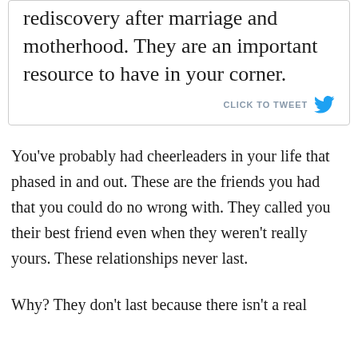rediscovery after marriage and motherhood. They are an important resource to have in your corner.
CLICK TO TWEET
You've probably had cheerleaders in your life that phased in and out. These are the friends you had that you could do no wrong with. They called you their best friend even when they weren't really yours. These relationships never last.
Why? They don't last because there isn't a real